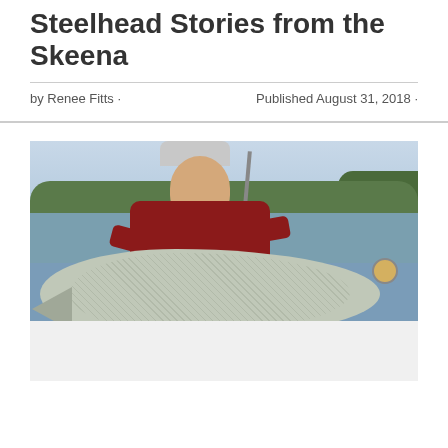Steelhead Stories from the Skeena
by Renee Fitts · Published August 31, 2018 ·
[Figure (photo): A person wearing a red jacket, grey hat, and orange mirrored sunglasses, kneeling on a boat deck and holding a large tarpon or similar silver fish. Background shows water and green mangroves under a cloudy sky.]